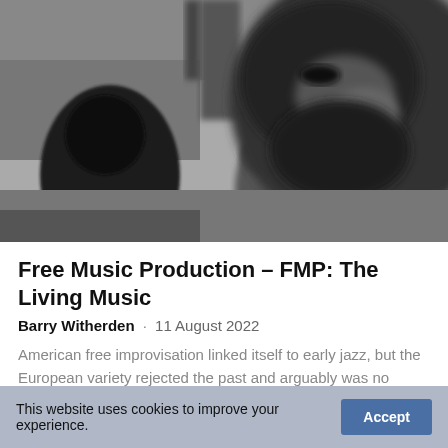[Figure (photo): Black and white photograph showing people in a street scene. A blurry close-up of a bearded man's face dominates the right foreground, while the silhouette of a person in a dark jacket is visible on the left, and another figure stands in the background near a bare tree.]
Free Music Production – FMP: The Living Music
Barry Witherden · 11 August 2022
American free improvisation linked itself to early jazz, but the European variety rejected the past and arguably was no longer jazz at all
This website uses cookies to improve your experience.